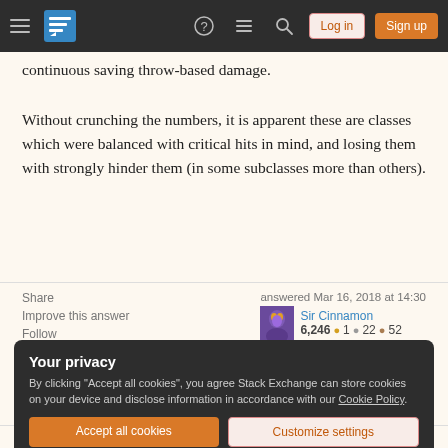Stack Exchange navigation bar with Log in and Sign up buttons
continuous saving throw-based damage.
Without crunching the numbers, it is apparent these are classes which were balanced with critical hits in mind, and losing them with strongly hinder them (in some subclasses more than others).
Share | Improve this answer | Follow  answered Mar 16, 2018 at 14:30  Sir Cinnamon  6,246 ● 1 ● 22 ● 52
Your privacy
By clicking "Accept all cookies", you agree Stack Exchange can store cookies on your device and disclose information in accordance with our Cookie Policy.
Accept all cookies  Customize settings
but that it will crit – Sir Cinnamon Mar 16, 2018 at 14:34